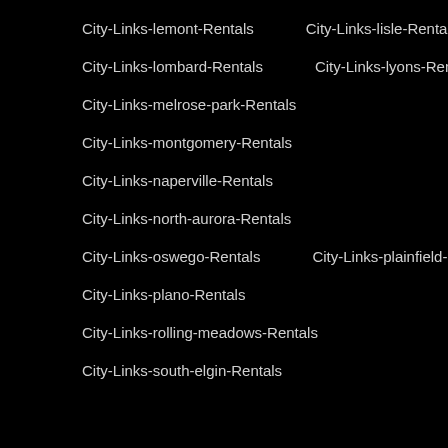City-Links-lemont-Rentals
City-Links-lisle-Rentals
City-Links-lombard-Rentals
City-Links-lyons-Rentals
City-Links-melrose-park-Rentals
City-Links-montgomery-Rentals
City-Links-naperville-Rentals
City-Links-north-aurora-Rentals
City-Links-oswego-Rentals
City-Links-plainfield-Rentals
City-Links-plano-Rentals
City-Links-rolling-meadows-Rentals
City-Links-south-elgin-Rentals